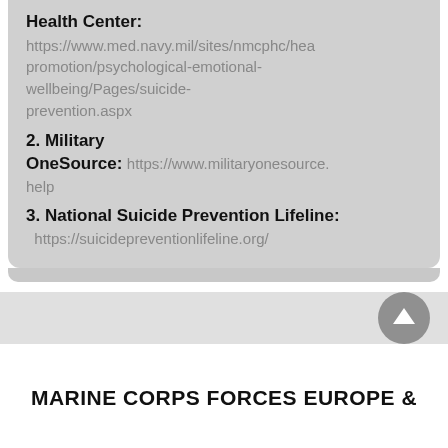Health Center: https://www.med.navy.mil/sites/nmcphc/health-promotion/psychological-emotional-wellbeing/Pages/suicide-prevention.aspx
2. Military OneSource: https://www.militaryonesource.mil/confidential-help
3. National Suicide Prevention Lifeline: https://suicidepreventionlifeline.org/
MARINE CORPS FORCES EUROPE &